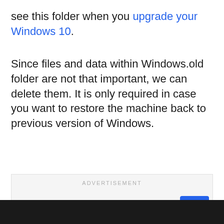see this folder when you upgrade your Windows 10.
Since files and data within Windows.old folder are not that important, we can delete them. It is only required in case you want to restore the machine back to previous version of Windows.
[Figure (other): Advertisement placeholder box with label ADVERTISEMENT and a blue scroll-to-top button with upward chevron arrow]